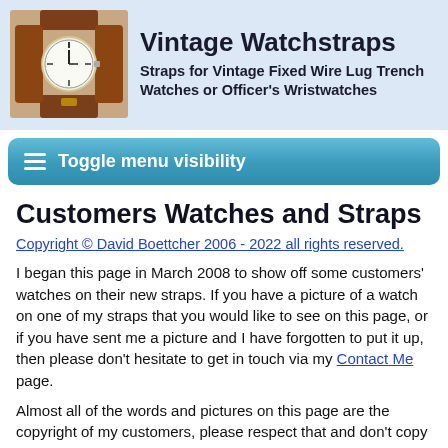[Figure (photo): Photo of a vintage wristwatch with brown leather strap]
Vintage Watchstraps
Straps for Vintage Fixed Wire Lug Trench Watches or Officer's Wristwatches
Toggle menu visibility
Customers Watches and Straps
Copyright © David Boettcher 2006 - 2022 all rights reserved.
I began this page in March 2008 to show off some customers' watches on their new straps. If you have a picture of a watch on one of my straps that you would like to see on this page, or if you have sent me a picture and I have forgotten to put it up, then please don't hesitate to get in touch via my Contact Me page.
Almost all of the words and pictures on this page are the copyright of my customers, please respect that and don't copy